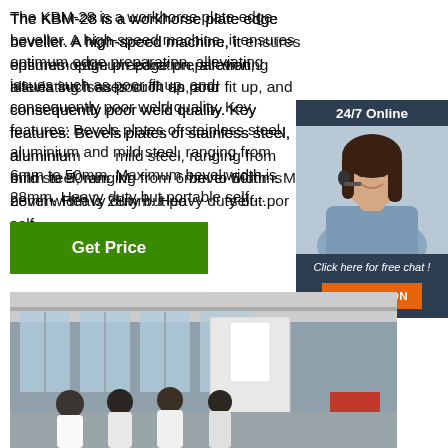The KBM-28 is a workhorse plate edge beveller. A high-speed machine, it ensures optimum edge preparation, alleviating issues such as poor fit up, and consequently poor weld quality. Key features: Bevels plates of stainless steel, aluminium and mild steel, ranging from 6mm to 50mm. Maximum bevel width is 28mm. Heavy duty but portable self ...
[Figure (other): 24/7 Online chat widget featuring a woman wearing a headset, with a 'Click here for free chat!' message and an orange QUOTATION button]
[Figure (photo): Photo of people in an industrial/factory setting with machinery, appearing to be viewing or discussing equipment]